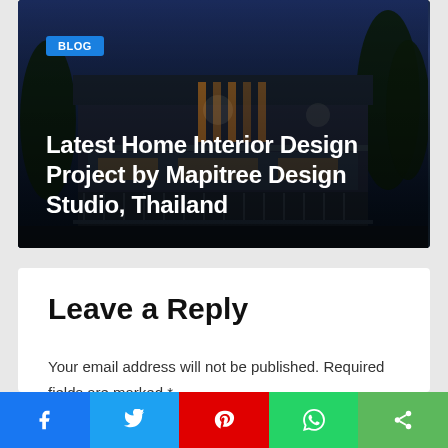[Figure (photo): Night exterior photo of a modern multi-story home with dark facade, illuminated interior lights, and trees in background]
BLOG
Latest Home Interior Design Project by Mapitree Design Studio, Thailand
Leave a Reply
Your email address will not be published. Required fields are marked *